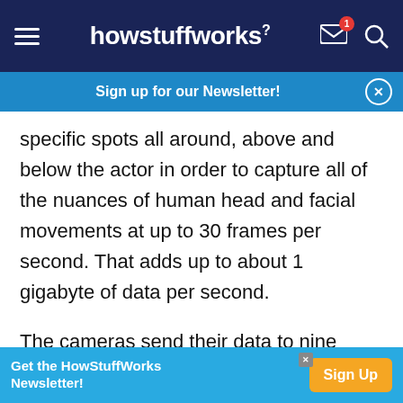howstuffworks
Sign up for our Newsletter!
specific spots all around, above and below the actor in order to capture all of the nuances of human head and facial movements at up to 30 frames per second. That adds up to about 1 gigabyte of data per second.
The cameras send their data to nine powerful computer servers, which can each process about 300 megabytes per second. These servers power animation software that interprets the video feeds.
Get the HowStuffWorks Newsletter!